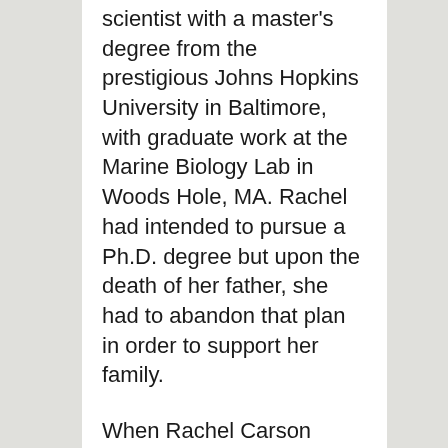scientist with a master's degree from the prestigious Johns Hopkins University in Baltimore, with graduate work at the Marine Biology Lab in Woods Hole, MA. Rachel had intended to pursue a Ph.D. degree but upon the death of her father, she had to abandon that plan in order to support her family.
When Rachel Carson moved into her new home on Berwick Road in 1957, her household included her mother (who died in December, 1958), her newly adopted grandnephew, Roger, then 5 years old, along with cats, Jeffie and Moppet. Carson had